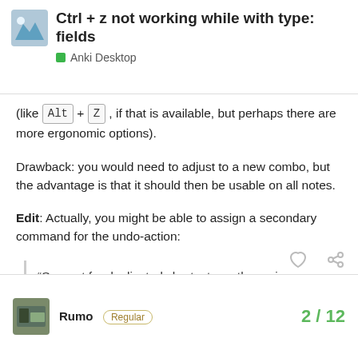Ctrl + z not working while with type: fields
Anki Desktop
(like Alt + Z , if that is available, but perhaps there are more ergonomic options).
Drawback: you would need to adjust to a new combo, but the advantage is that it should then be usable on all notes.
Edit: Actually, you might be able to assign a secondary command for the undo-action:
“Support for duplicated shortcuts on the reviewer window is available.” – the author from the add-on page on AnkiWeb
Rumo Regular 2 / 12